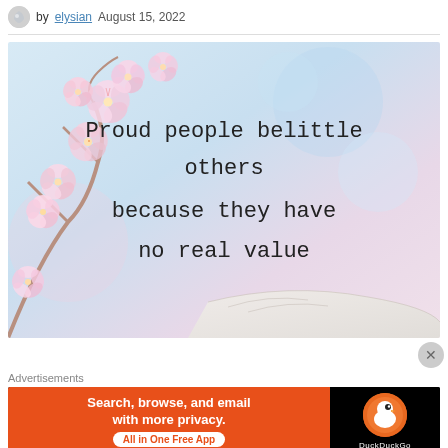by elysian   August 15, 2022
[Figure (photo): Quote image with cherry blossoms background. Text reads: 'Proud people belittle others because they have no real value']
Masking the soul ~ Η μάσκα της ψυχής
Advertisements
[Figure (other): DuckDuckGo advertisement banner: 'Search, browse, and email with more privacy. All in One Free App']